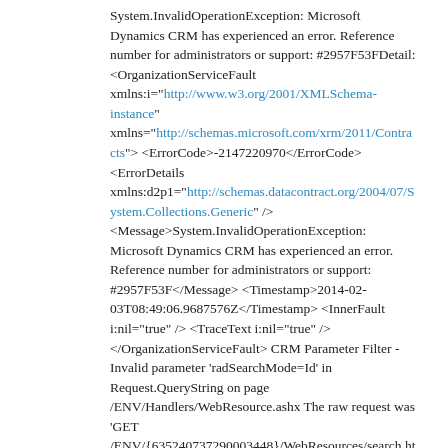System.InvalidOperationException: Microsoft Dynamics CRM has experienced an error. Reference number for administrators or support: #2957F53FDetail: <OrganizationServiceFault xmlns:i="http://www.w3.org/2001/XMLSchema-instance" xmlns="http://schemas.microsoft.com/xrm/2011/Contracts"> <ErrorCode>-2147220970</ErrorCode> <ErrorDetails xmlns:d2p1="http://schemas.datacontract.org/2004/07/System.Collections.Generic" /> <Message>System.InvalidOperationException: Microsoft Dynamics CRM has experienced an error. Reference number for administrators or support: #2957F53F</Message> <Timestamp>2014-02-03T08:49:06.9687576Z</Timestamp> <InnerFault i:nil="true" /> <TraceText i:nil="true" /> </OrganizationServiceFault> CRM Parameter Filter - Invalid parameter 'radSearchMode=Id' in Request.QueryString on page /ENV/Handlers/WebResource.ashx The raw request was 'GET /ENV/{635240737290003448}/WebResources/search.html?radSearchMode=Id' called from https://defaultsite.com/ENV/%7B63524073729000348%7D/WebResources/search.html. Not available Not available Not available https://defaultsite/ENV/Handlers/WebResource.ashx?